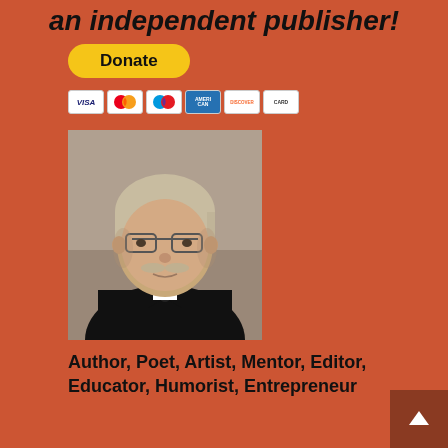an independent publisher!
[Figure (other): Donate button with PayPal styling and payment card icons (VISA, Mastercard, Maestro, Amex, Discover, and one more)]
[Figure (photo): Portrait photo of a middle-aged man with blonde/grey hair, glasses, moustache, wearing a black suit and bow tie]
Author, Poet, Artist, Mentor, Editor, Educator, Humorist, Entrepreneur
Hello, my name is Grant Hudson and what you will see on these pages is a reflection of who I am, my interests, and what I can do for you.
I am a published author and poet, have